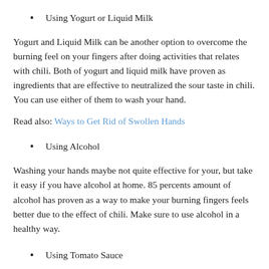Using Yogurt or Liquid Milk
Yogurt and Liquid Milk can be another option to overcome the burning feel on your fingers after doing activities that relates with chili. Both of yogurt and liquid milk have proven as ingredients that are effective to neutralized the sour taste in chili. You can use either of them to wash your hand.
Read also: Ways to Get Rid of Swollen Hands
Using Alcohol
Washing your hands maybe not quite effective for your, but take it easy if you have alcohol at home. 85 percents amount of alcohol has proven as a way to make your burning fingers feels better due to the effect of chili. Make sure to use alcohol in a healthy way.
Using Tomato Sauce
After eating or processing chili and you get your fingers burn, tomato sauce can be a cure for that condition. You can soak your hands in tomato sauce, then wait for about 15 minutes. Don't forget to wash you hands with clean water afterwards for a good result.